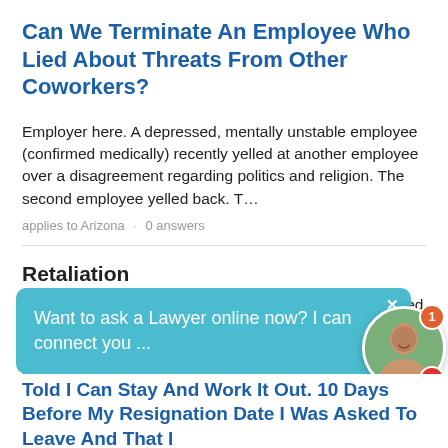Can We Terminate An Employee Who Lied About Threats From Other Coworkers?
Employer here. A depressed, mentally unstable employee (confirmed medically) recently yelled at another employee over a disagreement regarding politics and religion. The second employee yelled back. T...
applies to Arizona · 0 answers
Retaliation
I was terminated from a local employer, for what was listed as poor performance. In my termination letter it states three discussions in a six week period (never happened, No documentation). Three wee...
applies to Tennessee · 1 answer
Want to ask a Lawyer online now? I can connect you ...
Told I Can Stay And Work It Out. 10 Days Before My Resignation Date I Was Asked To Leave And That I